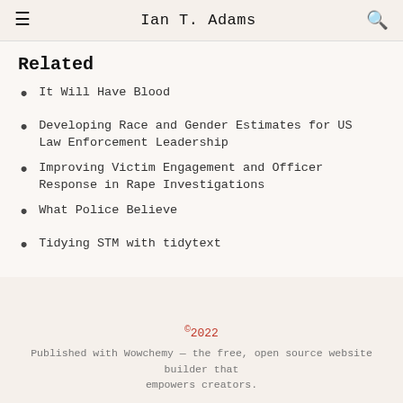Ian T. Adams
Related
It Will Have Blood
Developing Race and Gender Estimates for US Law Enforcement Leadership
Improving Victim Engagement and Officer Response in Rape Investigations
What Police Believe
Tidying STM with tidytext
©2022
Published with Wowchemy — the free, open source website builder that empowers creators.